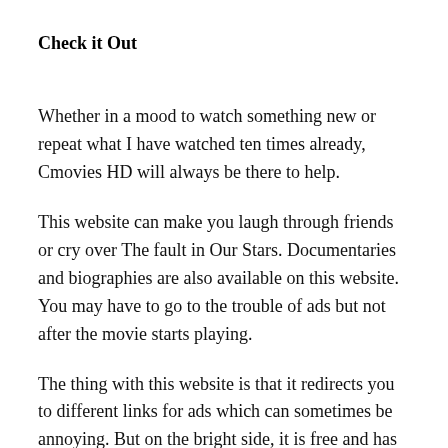Check it Out
Whether in a mood to watch something new or repeat what I have watched ten times already, Cmovies HD will always be there to help.
This website can make you laugh through friends or cry over The fault in Our Stars. Documentaries and biographies are also available on this website. You may have to go to the trouble of ads but not after the movie starts playing.
The thing with this website is that it redirects you to different links for ads which can sometimes be annoying. But on the bright side, it is free and has